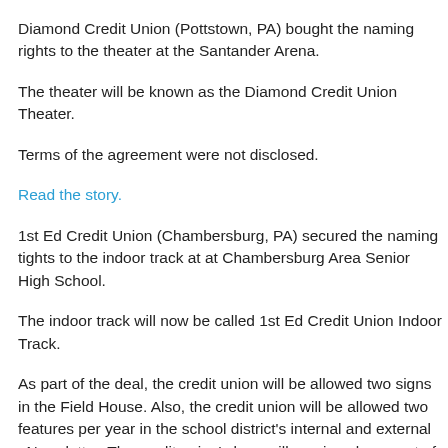Diamond Credit Union (Pottstown, PA) bought the naming rights to the theater at the Santander Arena.
The theater will be known as the Diamond Credit Union Theater.
Terms of the agreement were not disclosed.
Read the story.
1st Ed Credit Union (Chambersburg, PA) secured the naming tights to the indoor track at at Chambersburg Area Senior High School.
The indoor track will now be called 1st Ed Credit Union Indoor Track.
As part of the deal, the credit union will be allowed two signs in the Field House. Also, the credit union will be allowed two features per year in the school district's internal and external eNewsletter. The credit union's logo will receive placement of